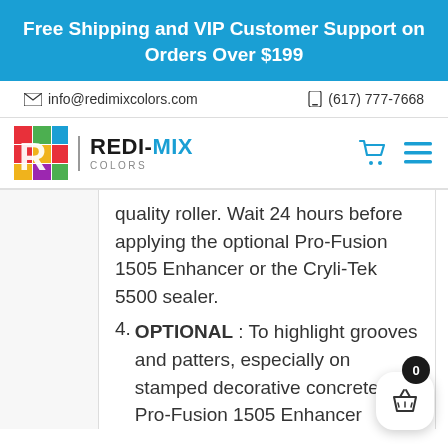Free Shipping and VIP Customer Support on Orders Over $199
info@redimixcolors.com   (617) 777-7668
[Figure (logo): Redi-Mix Colors logo with colorful grid icon and company name]
quality roller. Wait 24 hours before applying the optional Pro-Fusion 1505 Enhancer or the Cryli-Tek 5500 sealer.
4. OPTIONAL : To highlight grooves and patters, especially on stamped decorative concrete the Pro-Fusion 1505 Enhancer